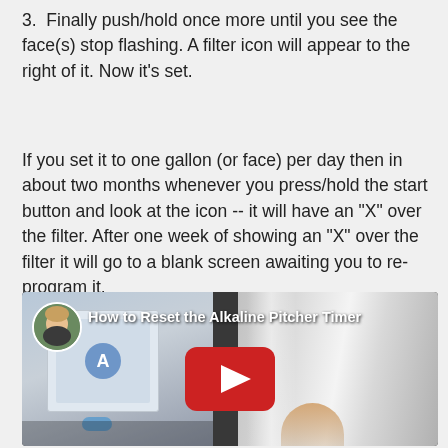3. Finally push/hold once more until you see the face(s) stop flashing. A filter icon will appear to the right of it. Now it's set.
If you set it to one gallon (or face) per day then in about two months whenever you press/hold the start button and look at the icon -- it will have an "X" over the filter. After one week of showing an "X" over the filter it will go to a blank screen awaiting you to re-program it.
[Figure (screenshot): YouTube video thumbnail showing 'How to Reset the Alkaline Pitcher Timer' with a circular avatar photo of a woman, a background image of an alkaline water pitcher and its box on the left and a shiny silver pitcher on the right, with a red YouTube play button in the center.]